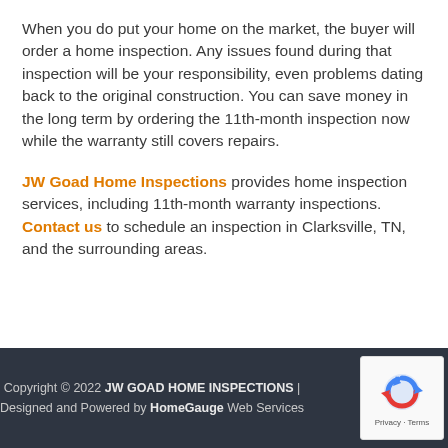When you do put your home on the market, the buyer will order a home inspection. Any issues found during that inspection will be your responsibility, even problems dating back to the original construction. You can save money in the long term by ordering the 11th-month inspection now while the warranty still covers repairs.
JW Goad Home Inspections provides home inspection services, including 11th-month warranty inspections. Contact us to schedule an inspection in Clarksville, TN, and the surrounding areas.
Copyright © 2022 JW GOAD HOME INSPECTIONS | Designed and Powered by HomeGauge Web Services